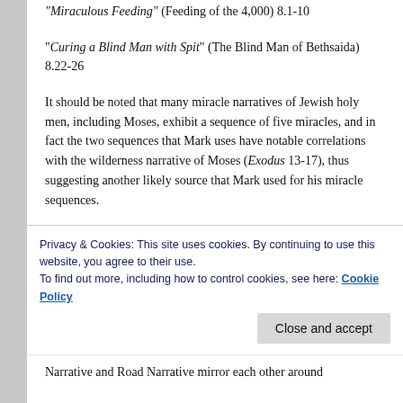“Miraculous Feeding” (Feeding of the 4,000) 8.1-10
“Curing a Blind Man with Spit” (The Blind Man of Bethsaida) 8.22-26
It should be noted that many miracle narratives of Jewish holy men, including Moses, exhibit a sequence of five miracles, and in fact the two sequences that Mark uses have notable correlations with the wilderness narrative of Moses (Exodus 13-17), thus suggesting another likely source that Mark used for his miracle sequences.
Another literary construct that Mark employs involves the way he structured the entire Gospel, basically into four different parts: The Discipling Narrative (Chapters 1-2)
Narrative and Road Narrative mirror each other around
Privacy & Cookies: This site uses cookies. By continuing to use this website, you agree to their use.
To find out more, including how to control cookies, see here: Cookie Policy